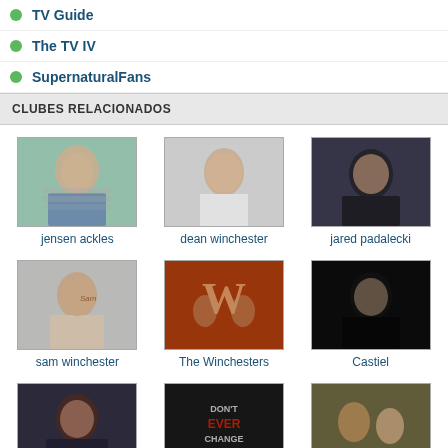TV Guide
The TV IV
SupernaturalFans
CLUBES RELACIONADOS
[Figure (photo): Grid of 9 club thumbnails: jensen ackles, dean winchester, jared padalecki, sam winchester, The Winchesters, Castiel, misha collins, Dean and Castiel, Dean and Jo]
mais clubes >>